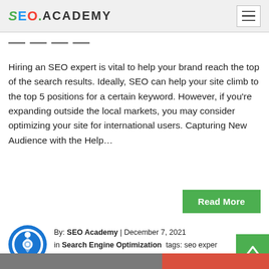SEO.ACADEMY
...
Hiring an SEO expert is vital to help your brand reach the top of the search results. Ideally, SEO can help your site climb to the top 5 positions for a certain keyword. However, if you're expanding outside the local markets, you may consider optimizing your site for international users. Capturing New Audience with the Help...
Read More
By: SEO Academy | December 7, 2021 in Search Engine Optimization  tags: seo expert, SEO Expert Danny, SEO expert tools, SEO expert... SEO Experts Recommendations
[Figure (photo): Bottom of page partial photo showing a woman with dark hair and plants, with red/coral colored panel on right side]